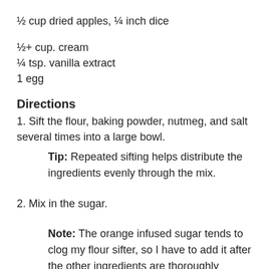½ cup dried apples, ¼ inch dice
½+ cup. cream
¼ tsp. vanilla extract
1 egg
Directions
1. Sift the flour, baking powder, nutmeg, and salt several times into a large bowl.
Tip: Repeated sifting helps distribute the ingredients evenly through the mix.
2. Mix in the sugar.
Note: The orange infused sugar tends to clog my flour sifter, so I have to add it after the other ingredients are thoroughly mixed. It is more important that the baking